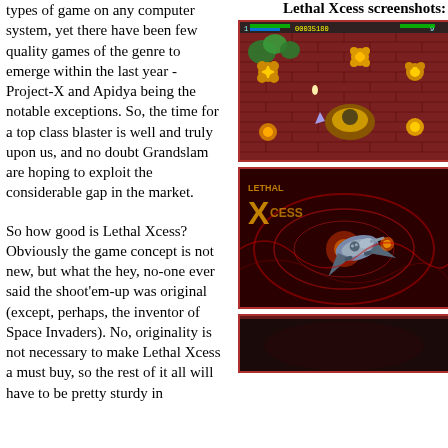types of game on any computer system, yet there have been few quality games of the genre to emerge within the last year - Project-X and Apidya being the notable exceptions. So, the time for a top class blaster is well and truly upon us, and no doubt Grandslam are hoping to exploit the considerable gap in the market.
So how good is Lethal Xcess? Obviously the game concept is not new, but what the hey, no-one ever said the shoot'em-up was original (except, perhaps, the inventor of Space Invaders). No, originality is not necessary to make Lethal Xcess a must buy, so the rest of it all will have to be pretty sturdy in
Lethal Xcess screenshots:
[Figure (screenshot): Lethal Xcess gameplay screenshot showing enemies and score 00035180 on a brick wall background]
[Figure (screenshot): Lethal Xcess title/intro screen with metallic spacecraft on red background]
[Figure (screenshot): Lethal Xcess screenshot, dark/partial view]